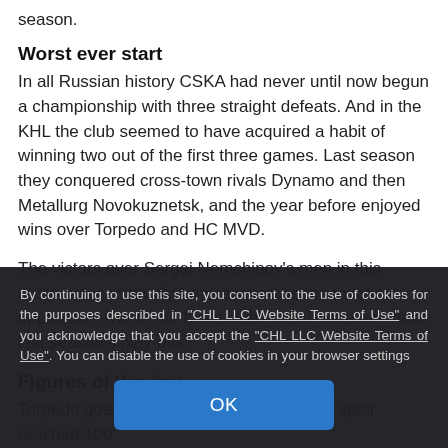season.
Worst ever start
In all Russian history CSKA had never until now begun a championship with three straight defeats. And in the KHL the club seemed to have acquired a habit of winning two out of the first three games. Last season they conquered cross-town rivals Dynamo and then Metallurg Novokuznetsk, and the year before enjoyed wins over Torpedo and HC MVD.
The victors over Sergei Nemchinov's men in this campaign can hardly be described as the toughest opposition: two of the three clubs could not even make last season's play-offs.
Figures of the day
Torpedo goalie Bernd Bruckler's unbeaten spell reached 100 minutes and 00 seconds, the best performance of the season...
By continuing to use this site, you consent to the use of cookies for the purposes described in "CHL LLC Website Terms of Use" and you acknowledge that you accept the "CHL LLC Website Terms of Use". You can disable the use of cookies in your browser settings